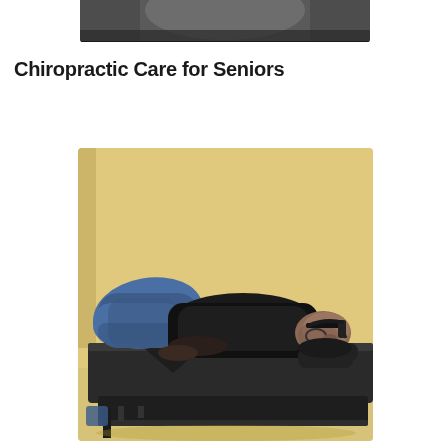[Figure (photo): Partial photo cropped at top of page showing a person receiving chiropractic treatment, dark background]
Chiropractic Care for Seniors
[Figure (photo): Man in black shirt lying face-down on a chiropractic adjustment table in a clinical room with yellow walls. The man is bald and wearing glasses, lying on a dark padded treatment table. He is wearing blue jeans.]